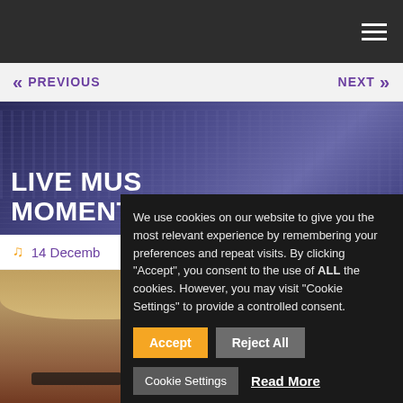≪ PREVIOUS    NEXT ≫
[Figure (photo): Audience/orchestra in a concert or music event setting, with purple/blue overlay tones]
LIVE MUS... MOMENTS...
🎵 14 Decemb...
[Figure (photo): Close-up of a man with glasses and short hair in a classroom or rehearsal setting, students visible in background]
We use cookies on our website to give you the most relevant experience by remembering your preferences and repeat visits. By clicking "Accept", you consent to the use of ALL the cookies. However, you may visit "Cookie Settings" to provide a controlled consent.
Accept  Reject All  Cookie Settings  Read More